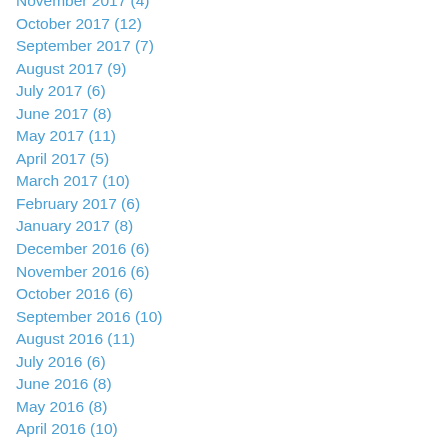November 2017 (4)
October 2017 (12)
September 2017 (7)
August 2017 (9)
July 2017 (6)
June 2017 (8)
May 2017 (11)
April 2017 (5)
March 2017 (10)
February 2017 (6)
January 2017 (8)
December 2016 (6)
November 2016 (6)
October 2016 (6)
September 2016 (10)
August 2016 (11)
July 2016 (6)
June 2016 (8)
May 2016 (8)
April 2016 (10)